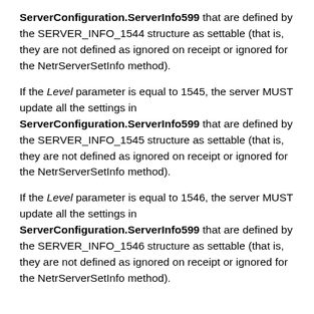ServerConfiguration.ServerInfo599 that are defined by the SERVER_INFO_1544 structure as settable (that is, they are not defined as ignored on receipt or ignored for the NetrServerSetInfo method).
If the Level parameter is equal to 1545, the server MUST update all the settings in ServerConfiguration.ServerInfo599 that are defined by the SERVER_INFO_1545 structure as settable (that is, they are not defined as ignored on receipt or ignored for the NetrServerSetInfo method).
If the Level parameter is equal to 1546, the server MUST update all the settings in ServerConfiguration.ServerInfo599 that are defined by the SERVER_INFO_1546 structure as settable (that is, they are not defined as ignored on receipt or ignored for the NetrServerSetInfo method).